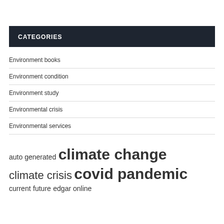CATEGORIES
Environment books
Environment condition
Environment study
Environmental crisis
Environmental services
[Figure (infographic): Tag cloud with words: auto generated (small), climate change (large), climate crisis (medium), covid pandemic (large), current (small), future (small), edgar online (small)]